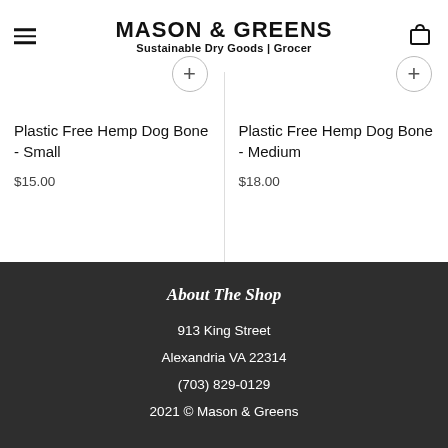MASON & GREENS — Sustainable Dry Goods | Grocer
Plastic Free Hemp Dog Bone - Small
$15.00
Plastic Free Hemp Dog Bone - Medium
$18.00
About The Shop
913 King Street
Alexandria VA 22314
(703) 829-0129
2021 © Mason & Greens